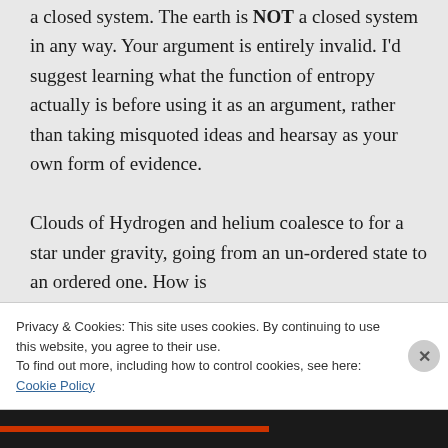a closed system. The earth is NOT a closed system in any way. Your argument is entirely invalid. I'd suggest learning what the function of entropy actually is before using it as an argument, rather than taking misquoted ideas and hearsay as your own form of evidence.
Clouds of Hydrogen and helium coalesce to for a star under gravity, going from an un-ordered state to an ordered one. How is
Privacy & Cookies: This site uses cookies. By continuing to use this website, you agree to their use.
To find out more, including how to control cookies, see here: Cookie Policy